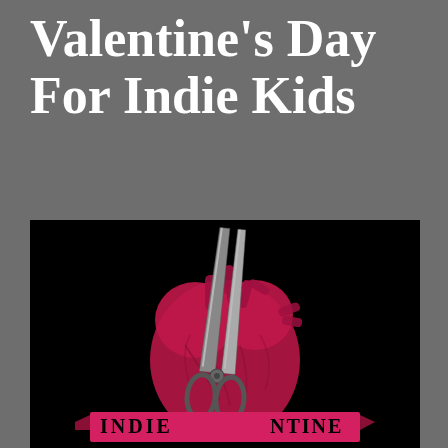Valentine's Day For Indie Kids
[Figure (illustration): Illustrated anatomical heart in dark pink/red with a pair of scissors stabbed through it, above a banner ribbon that reads 'INDIEANTINE' (partial text visible). Black background.]